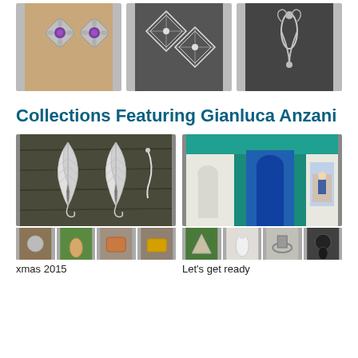[Figure (photo): Three silver jewelry product photos in a row: left shows ornate floral earrings with purple gemstones on tan background, center shows diamond-shaped filigree earrings on dark background, right shows art nouveau style silver earrings on dark background.]
Collections Featuring Gianluca Anzani
[Figure (photo): Collection card: main image shows silver feather/leaf shaped earrings on wood background, with four small thumbnail images below of various silver and copper jewelry pieces. Label: xmas 2015]
[Figure (photo): Collection card: main image shows a colorful building facade with blue door and teal walls, with four small thumbnail images below of various silver jewelry pieces. Label: Let's get ready]
xmas 2015
Let's get ready